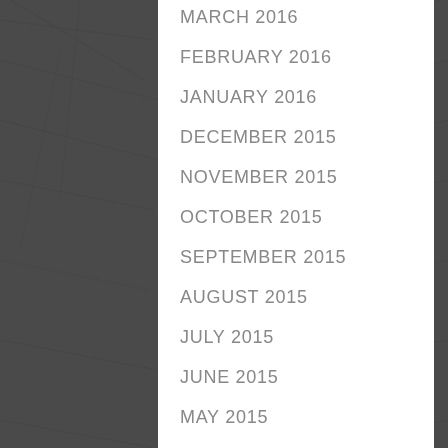MARCH 2016
FEBRUARY 2016
JANUARY 2016
DECEMBER 2015
NOVEMBER 2015
OCTOBER 2015
SEPTEMBER 2015
AUGUST 2015
JULY 2015
JUNE 2015
MAY 2015
APRIL 2015
MARCH 2015
FEBRUARY 2015
JANUARY 2015